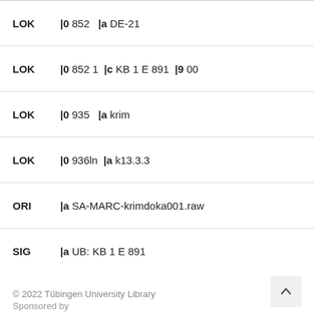| Field | Value |
| --- | --- |
| LOK | |0 852   |a DE-21 |
| LOK | |0 852 1  |c KB 1 E 891   |9 00 |
| LOK | |0 935   |a krim |
| LOK | |0 936ln  |a k13.3.3 |
| ORI | |a SA-MARC-krimdoka001.raw |
| SIG | |a UB: KB 1 E 891 |
© 2022 Tübingen University Library
Sponsored by
DFG Deutsche Forschungsgemeinschaft
Contact   Imprint   Privacy statement